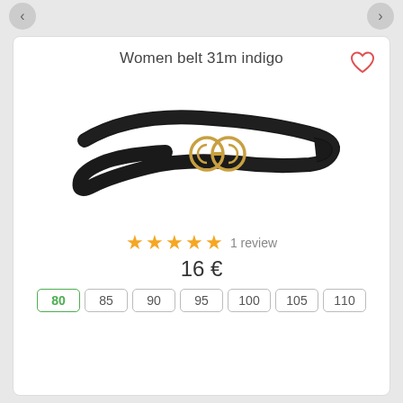Women belt 31m indigo
[Figure (photo): Black women's belt with gold double-circle buckle, coiled on white background]
★★★★★ 1 review
16 €
80  85  90  95  100  105  110